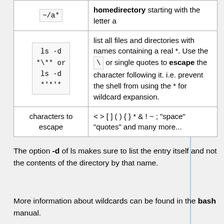| Command | Description |
| --- | --- |
| ~/a* | homedirectory starting with the letter a |
| ls -d *\** or ls -d *'*'* | list all files and directories with names containing a real *. Use the \' or single quotes to escape the character following it. i.e. prevent the shell from using the * for wildcard expansion. |
| characters to escape | < > [ ] ( ) { } * & ! ~ ; "space" "quotes" and many more... |
The option -d of ls makes sure to list the entry itself and not the contents of the directory by that name.
More information about wildcards can be found in the bash manual.